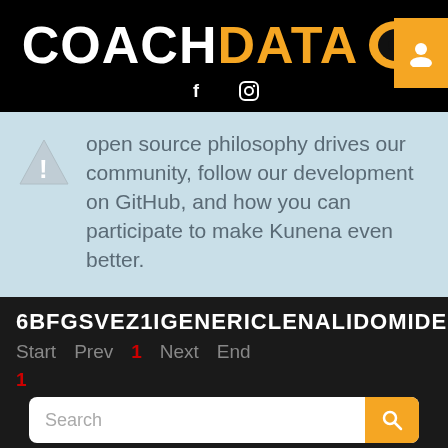[Figure (logo): CoachData logo with white COACH text, orange DATA text, and a circular CD icon. Orange user icon box in top right corner. Social media icons (Facebook and Instagram) below.]
open source philosophy drives our community, follow our development on GitHub, and how you can participate to make Kunena even better.
6BFGSVEZ1IGENERICLENALIDOMIDEC
Start  Prev  1  Next  End
1
Search